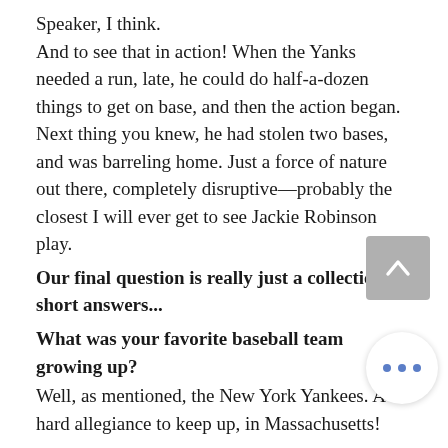Speaker, I think.
And to see that in action! When the Yanks needed a run, late, he could do half-a-dozen things to get on base, and then the action began. Next thing you knew, he had stolen two bases, and was barreling home. Just a force of nature out there, completely disruptive—probably the closest I will ever get to see Jackie Robinson play.
Our final question is really just a collection of short answers...
What was your favorite baseball team growing up?
Well, as mentioned, the New York Yankees. A hard allegiance to keep up, in Massachusetts!
Who was your favorite player?